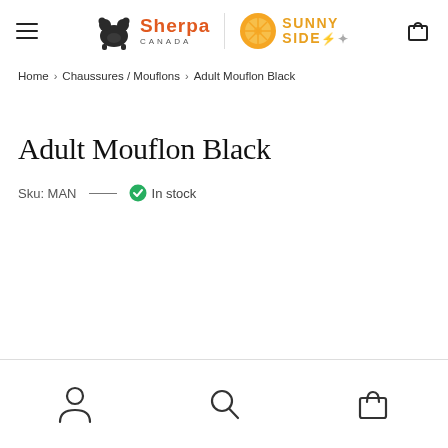Sherpa Canada / Sunny Side — navigation header with hamburger menu, logos, and cart icon
Home > Chaussures / Mouflons > Adult Mouflon Black
Adult Mouflon Black
Sku: MAN — In stock